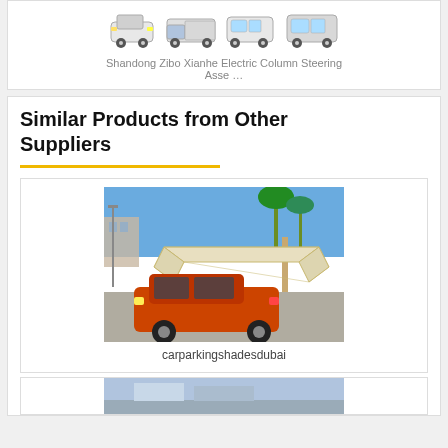[Figure (photo): Four electric/golf cart style vehicles shown in a row]
Shandong Zibo Xianhe Electric Column Steering Asse …
Similar Products from Other Suppliers
[Figure (photo): Car parking shade structure over an orange/red car in a parking lot with palm trees and blue sky]
carparkingshadesdubai
[Figure (photo): Partial view of another product image (bottom, cropped)]